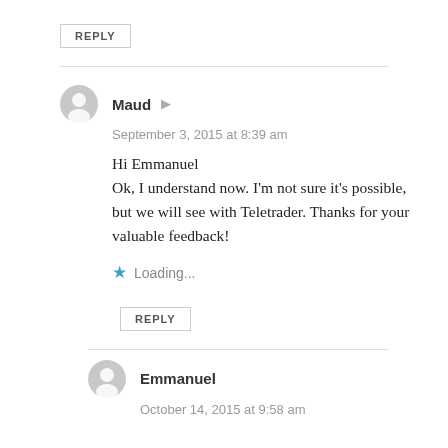REPLY
Maud
September 3, 2015 at 8:39 am
Hi Emmanuel
Ok, I understand now. I'm not sure it's possible, but we will see with Teletrader. Thanks for your valuable feedback!
Loading...
REPLY
Emmanuel
October 14, 2015 at 9:58 am